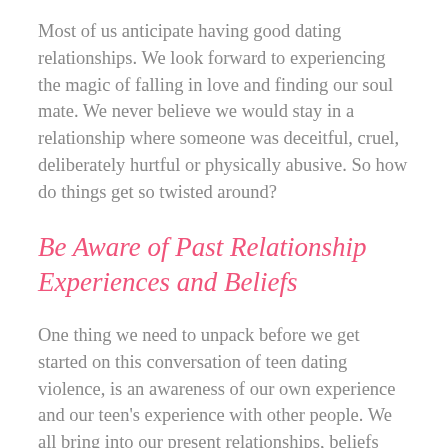Most of us anticipate having good dating relationships. We look forward to experiencing the magic of falling in love and finding our soul mate. We never believe we would stay in a relationship where someone was deceitful, cruel, deliberately hurtful or physically abusive. So how do things get so twisted around?
Be Aware of Past Relationship Experiences and Beliefs
One thing we need to unpack before we get started on this conversation of teen dating violence, is an awareness of our own experience and our teen's experience with other people. We all bring into our present relationships, beliefs about people based on our past experience and